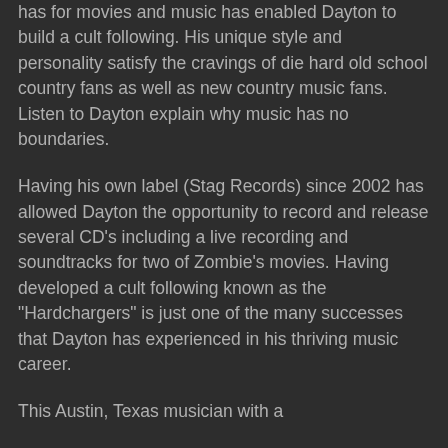has for movies and music has enabled Dayton to build a cult following. His unique style and personality satisfy the cravings of die hard old school country fans as well as new country music fans. Listen to Dayton explain why music has no boundaries.
Having his own label (Stag Records) since 2002 has allowed Dayton the opportunity to record and release several CD's including a live recording and soundtracks for two of Zombie's movies. Having developed a cult following known as the "Hardchargers" is just one of the many successes that Dayton has experienced in his thriving music career.
This Austin, Texas musician with a